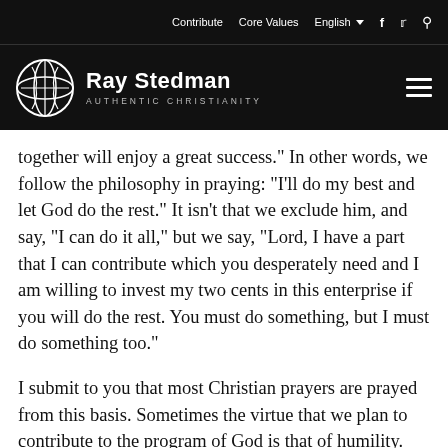Contribute   Core Values   English   [facebook] [twitter] [search]
Ray Stedman AUTHENTIC CHRISTIANITY
together will enjoy a great success." In other words, we follow the philosophy in praying: "I'll do my best and let God do the rest." It isn't that we exclude him, and say, "I can do it all," but we say, "Lord, I have a part that I can contribute which you desperately need and I am willing to invest my two cents in this enterprise if you will do the rest. You must do something, but I must do something too."
I submit to you that most Christian prayers are prayed from this basis. Sometimes the virtue that we plan to contribute to the program of God is that of humility. There is a kind of reverse brand of Pharisaism among